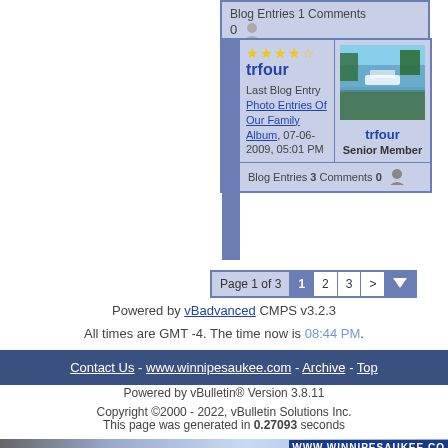Blog Entries 1 Comments 0
[Figure (screenshot): User card for trfour showing 4 stars, username link, last blog entry 'Photo Entries Of Our Family Album' dated 07-06-2009 05:01 PM, avatar photo of lake/river scene, Senior Member label, Blog Entries 3 Comments 0]
Page 1 of 3  1  2  3  >
Powered by vBadvanced CMPS v3.2.3
All times are GMT -4. The time now is 08:44 PM.
Contact Us - www.winnipesaukee.com - Archive - Top
Powered by vBulletin® Version 3.8.11
Copyright ©2000 - 2022, vBulletin Solutions Inc.
This page was generated in 0.27093 seconds
[Figure (logo): WWW.WINNIPESAUKEE.CO logo bar at bottom]